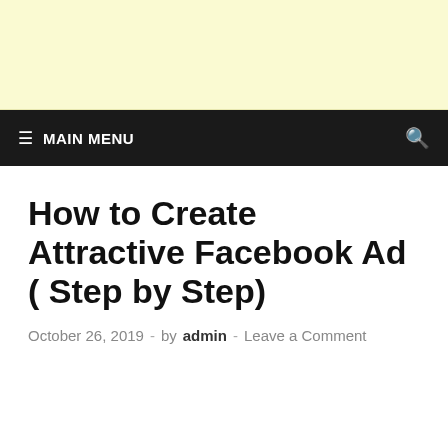[Figure (other): Light yellow advertisement banner at the top of the page]
≡ MAIN MENU
How to Create Attractive Facebook Ad ( Step by Step)
October 26, 2019 - by admin - Leave a Comment